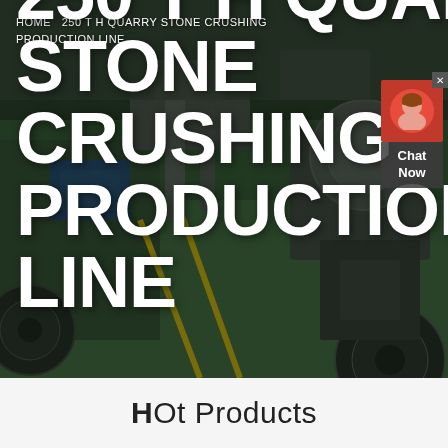[Figure (photo): Aerial/overhead view of an industrial factory floor with heavy stone crushing machinery, equipment and machinery in a large warehouse with green-painted floor and yellow lines.]
HOME  250 T H QUARRY STONE CRUSHING PRODUCTION LINE
250 T H QUARRY STONE CRUSHING PRODUCTION LINE
HOt Products